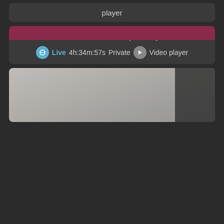player
[Figure (screenshot): Thumbnail image for Tinkerbell_1 live stream]
🎮 Tinkerbell_1 (Female)
Live 4h:34m:57s Private Video player
[Figure (screenshot): Thumbnail image for second live stream listing]